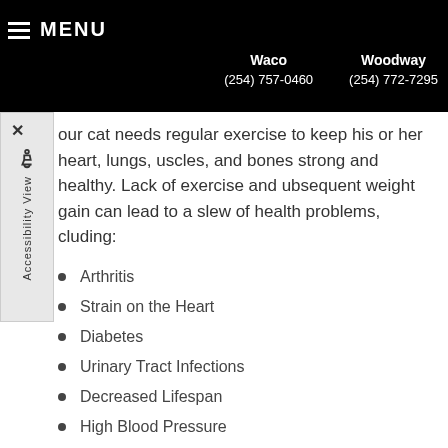MENU  Waco (254) 757-0460  Woodway (254) 772-7295
Your cat needs regular exercise to keep his or her heart, lungs, muscles, and bones strong and healthy. Lack of exercise and subsequent weight gain can lead to a slew of health problems, including:
Arthritis
Strain on the Heart
Diabetes
Urinary Tract Infections
Decreased Lifespan
High Blood Pressure
Skin Infections